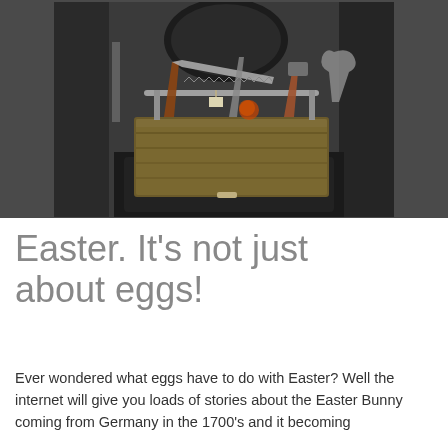[Figure (photo): A wooden toolbox filled with various old hand tools including saws and other implements, sitting on a dark chair, surrounded by more tools in the background.]
Easter. It's not just about eggs!
Ever wondered what eggs have to do with Easter? Well the internet will give you loads of stories about the Easter Bunny coming from Germany in the 1700's and it becoming